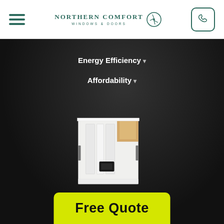Northern Comfort Windows & Doors
Energy Efficiency ▾
Affordability ▾
[Figure (photo): Cross-section cut of a window frame showing white PVC profiles, weatherstripping, and internal construction detail]
Free Quote